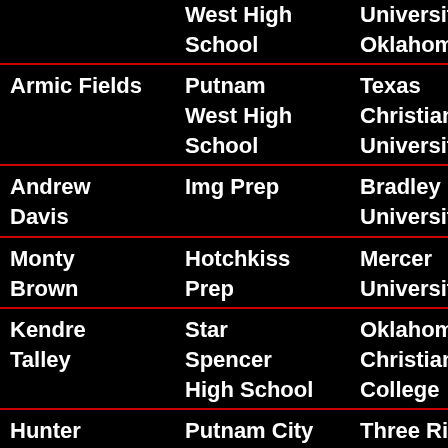| Name | High School | College |
| --- | --- | --- |
|  | West High School | University of Oklahoma |
| Armic Fields | Putnam West High School | Texas Christian University |
| Andrew Davis | Img Prep | Bradley University |
| Monty Brown | Hotchkiss Prep | Mercer University |
| Kendre Talley | Star Spencer High School | Oklahoma Christian College |
| Hunter Gibson | Putnam City High School | Three Rivers College |